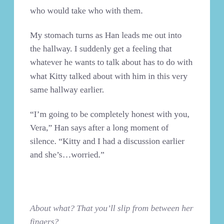who would take who with them.
My stomach turns as Han leads me out into the hallway. I suddenly get a feeling that whatever he wants to talk about has to do with what Kitty talked about with him in this very same hallway earlier.
“I’m going to be completely honest with you, Vera,” Han says after a long moment of silence. “Kitty and I had a discussion earlier and she’s…worried.”
About what? That you’ll slip from between her fingers?